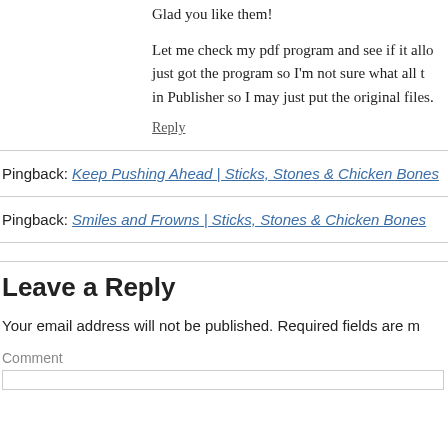Glad you like them!
Let me check my pdf program and see if it allo... just got the program so I'm not sure what all t... in Publisher so I may just put the original files...
Reply
Pingback: Keep Pushing Ahead | Sticks, Stones & Chicken Bones
Pingback: Smiles and Frowns | Sticks, Stones & Chicken Bones
Leave a Reply
Your email address will not be published. Required fields are m...
Comment